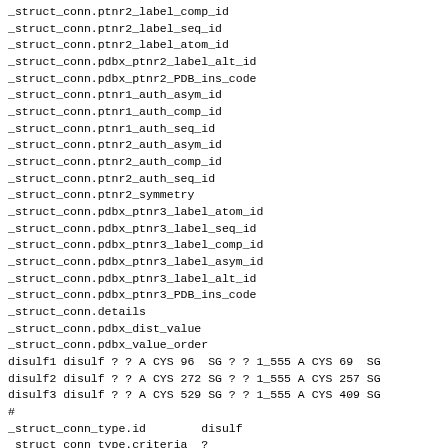_struct_conn.ptnr2_label_comp_id
_struct_conn.ptnr2_label_seq_id
_struct_conn.ptnr2_label_atom_id
_struct_conn.pdbx_ptnr2_label_alt_id
_struct_conn.pdbx_ptnr2_PDB_ins_code
_struct_conn.ptnr1_auth_asym_id
_struct_conn.ptnr1_auth_comp_id
_struct_conn.ptnr1_auth_seq_id
_struct_conn.ptnr2_auth_asym_id
_struct_conn.ptnr2_auth_comp_id
_struct_conn.ptnr2_auth_seq_id
_struct_conn.ptnr2_symmetry
_struct_conn.pdbx_ptnr3_label_atom_id
_struct_conn.pdbx_ptnr3_label_seq_id
_struct_conn.pdbx_ptnr3_label_comp_id
_struct_conn.pdbx_ptnr3_label_asym_id
_struct_conn.pdbx_ptnr3_label_alt_id
_struct_conn.pdbx_ptnr3_PDB_ins_code
_struct_conn.details
_struct_conn.pdbx_dist_value
_struct_conn.pdbx_value_order
disulf1 disulf ? ? A CYS 96  SG ? ? 1_555 A CYS 69  SG
disulf2 disulf ? ? A CYS 272 SG ? ? 1_555 A CYS 257 SG
disulf3 disulf ? ? A CYS 529 SG ? ? 1_555 A CYS 409 SG
#
_struct_conn_type.id        disulf
_struct_conn_type.criteria  ?
_struct_conn_type.reference ?
#
loop_
_struct_conn_type.id